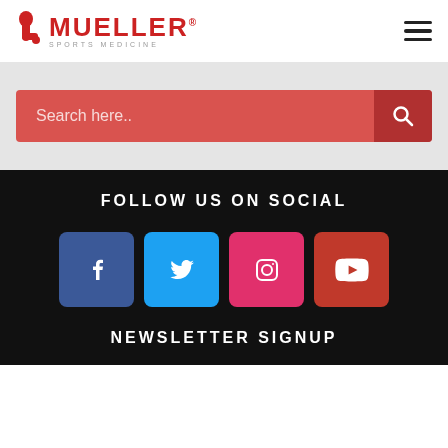[Figure (logo): Mueller Sports Medicine logo with red sock/foot icon and red MUELLER text with SPORTS MEDICINE subtitle]
[Figure (infographic): Hamburger menu icon (three horizontal lines)]
[Figure (screenshot): Search bar with red/salmon background showing 'Search here..' placeholder text and a search icon button]
FOLLOW US ON SOCIAL
[Figure (infographic): Four social media icon buttons: Facebook (blue), Twitter (light blue), Instagram (pink), YouTube (red)]
NEWSLETTER SIGNUP